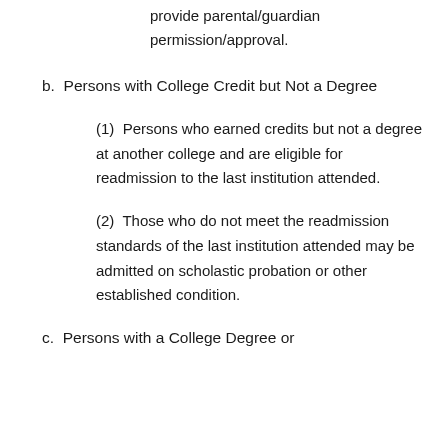provide parental/guardian permission/approval.
b.  Persons with College Credit but Not a Degree
(1)  Persons who earned credits but not a degree at another college and are eligible for readmission to the last institution attended.
(2)  Those who do not meet the readmission standards of the last institution attended may be admitted on scholastic probation or other established condition.
c.  Persons with a College Degree or